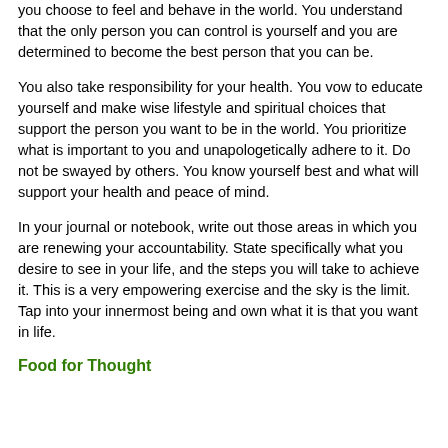you choose to feel and behave in the world. You understand that the only person you can control is yourself and you are determined to become the best person that you can be.
You also take responsibility for your health. You vow to educate yourself and make wise lifestyle and spiritual choices that support the person you want to be in the world. You prioritize what is important to you and unapologetically adhere to it. Do not be swayed by others. You know yourself best and what will support your health and peace of mind.
In your journal or notebook, write out those areas in which you are renewing your accountability. State specifically what you desire to see in your life, and the steps you will take to achieve it. This is a very empowering exercise and the sky is the limit. Tap into your innermost being and own what it is that you want in life.
Food for Thought